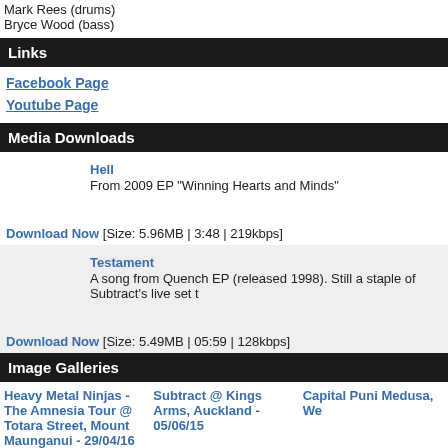Mark Rees (drums)
Bryce Wood (bass)
Links
Facebook Page
Youtube Page
Media Downloads
Hell
From 2009 EP "Winning Hearts and Minds"
Download Now [Size: 5.96MB | 3:48 | 219kbps]
Testament
A song from Quench EP (released 1998). Still a staple of Subtract's live set t
Download Now [Size: 5.49MB | 05:59 | 128kbps]
Image Galleries
Heavy Metal Ninjas - The Amnesia Tour @ Totara Street, Mount Maunganui - 29/04/16
Subtract @ Kings Arms, Auckland - 05/06/15
Capital Puni Medusa, We